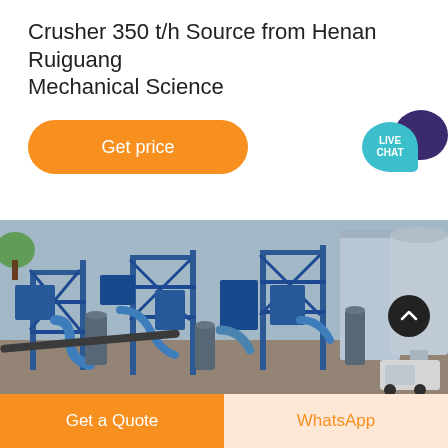Crusher 350 t/h Source from Henan Ruiguang Mechanical Science
[Figure (other): Orange rounded rectangle button labeled 'Get price']
[Figure (other): Live Chat speech bubble icon with teal and dark purple colors]
[Figure (photo): Aerial/elevated view of an industrial crushing plant with blue steel structures, pipes, conveyors, dust collectors, and a large silo on the right]
Get a Quote
WhatsApp